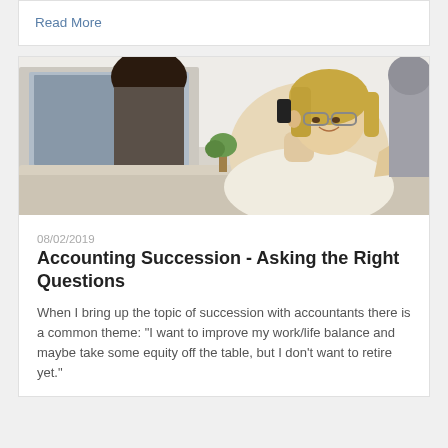Read More
[Figure (photo): Woman with blonde hair and glasses lying back on a couch, smiling and talking on a smartphone. Another person with dark hair is visible in the background near a computer screen.]
08/02/2019
Accounting Succession - Asking the Right Questions
When I bring up the topic of succession with accountants there is a common theme: "I want to improve my work/life balance and maybe take some equity off the table, but I don't want to retire yet."